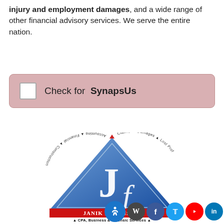injury and employment damages, and a wide range of other financial advisory services. We serve the entire nation.
[Figure (infographic): Checkbox UI element with pink/rose background and rounded border. A white checkbox square on the left followed by text: Check for SynapsUs]
[Figure (logo): Janik Forensics logo: blue triangle with Jf monogram in white. Curved text around triangle edges reads: Accounting, Financial, Construction, Claims, Damages, Lost Prof. Below triangle: JANIK FORENSICS in red/dark text. Subtitle: CPA, Business & Forensic Services with red triangles. Social media icons at bottom: WordPress, Facebook, Twitter, YouTube, LinkedIn. Accessibility icon in blue circle at far right.]